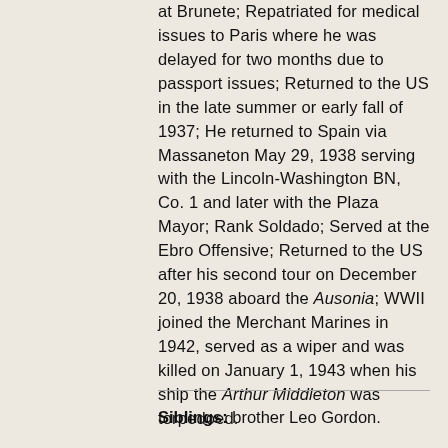at Brunete; Repatriated for medical issues to Paris where he was delayed for two months due to passport issues; Returned to the US in the late summer or early fall of 1937; He returned to Spain via Massaneton May 29, 1938 serving with the Lincoln-Washington BN, Co. 1 and later with the Plaza Mayor; Rank Soldado; Served at the Ebro Offensive; Returned to the US after his second tour on December 20, 1938 aboard the Ausonia; WWII joined the Merchant Marines in 1942, served as a wiper and was killed on January 1, 1943 when his ship the Arthur Middleton was torpedoed.
Siblings: brother Leo Gordon.